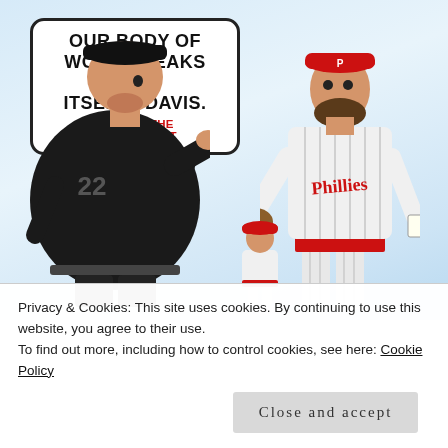[Figure (illustration): Editorial cartoon showing a very overweight umpire in a black uniform with number 22 on the back, pointing and saying in a speech bubble: 'OUR BODY OF WORK SPEAKS FOR ITSELF, DAVIS. GIVE ME THE CHEAT SHEET' to a tall Philadelphia Phillies baseball pitcher holding a glove and paper. A smaller Phillies player appears in the background. Blue sky background.]
Privacy & Cookies: This site uses cookies. By continuing to use this website, you agree to their use.
To find out more, including how to control cookies, see here: Cookie Policy
Close and accept